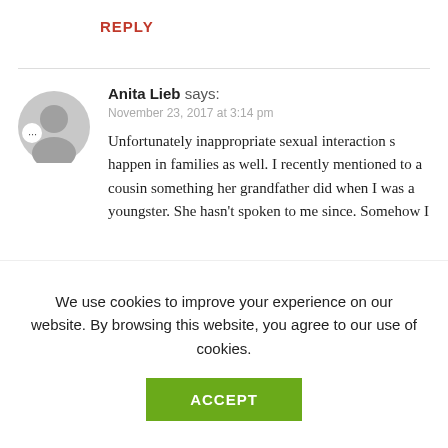REPLY
Anita Lieb says:
November 23, 2017 at 3:14 pm
Unfortunately inappropriate sexual interaction s happen in families as well. I recently mentioned to a cousin something her grandfather did when I was a youngster. She hasn't spoken to me since. Somehow I
We use cookies to improve your experience on our website. By browsing this website, you agree to our use of cookies.
ACCEPT